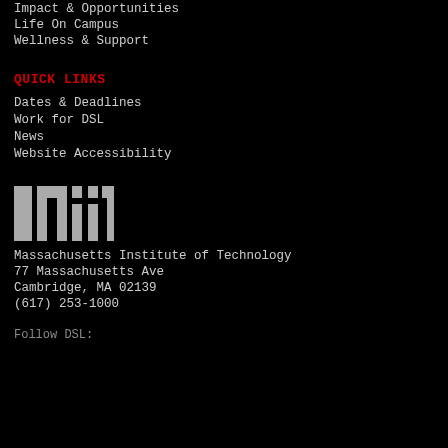Impact & Opportunities
Life On Campus
Wellness & Support
QUICK LINKS
Dates & Deadlines
Work for DSL
News
Website Accessibility
[Figure (logo): MIT logo in white/gray on black background]
Massachusetts Institute of Technology
77 Massachusetts Ave
Cambridge, MA 02139
(617) 253-1000
Follow DSL: